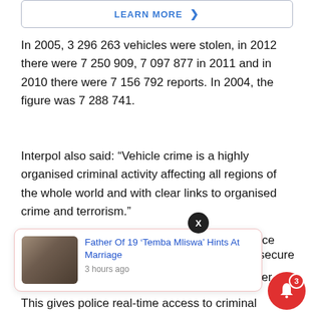[Figure (other): LEARN MORE button with arrow in a rounded rectangle border]
In 2005, 3 296 263 vehicles were stolen, in 2012 there were 7 250 909, 7 097 877 in 2011 and in 2010 there were 7 156 792 reports. In 2004, the figure was 7 288 741.
Interpol also said: “Vehicle crime is a highly organised criminal activity affecting all regions of the whole world and with clear links to organised crime and terrorism.”
Interpol is the world’s largest international police organisation, with 190 members. Its role is to enable police around the world to work together.
[Figure (other): Popup advertisement card: Father Of 19 'Temba Mliswa' Hints At Marriage, 3 hours ago, with a thumbnail image of people in a room]
This gives police real-time access to criminal databases